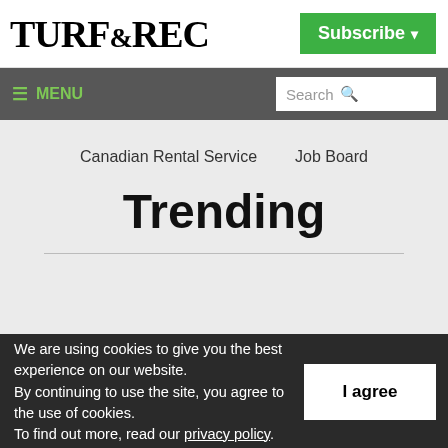TURF&REC
Subscribe
≡ MENU | Search
Canadian Rental Service
Job Board
Trending
We are using cookies to give you the best experience on our website. By continuing to use the site, you agree to the use of cookies. To find out more, read our privacy policy.
I agree